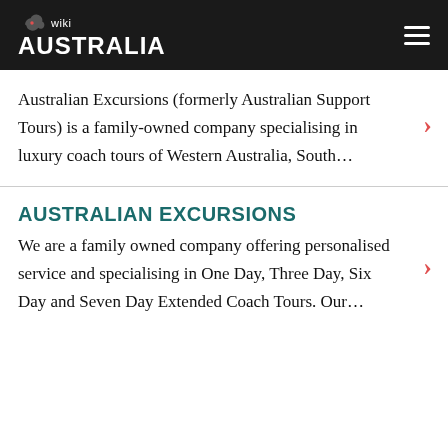wiki AUSTRALIA
Australian Excursions (formerly Australian Support Tours) is a family-owned company specialising in luxury coach tours of Western Australia, South…
AUSTRALIAN EXCURSIONS
We are a family owned company offering personalised service and specialising in One Day, Three Day, Six Day and Seven Day Extended Coach Tours. Our…